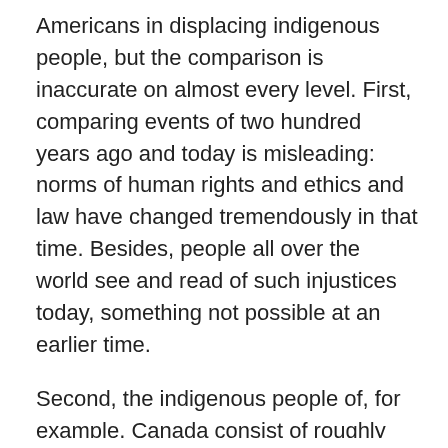Americans in displacing indigenous people, but the comparison is inaccurate on almost every level. First, comparing events of two hundred years ago and today is misleading: norms of human rights and ethics and law have changed tremendously in that time. Besides, people all over the world see and read of such injustices today, something not possible at an earlier time.
Second, the indigenous people of, for example, Canada consist of roughly one million out of a national population of 35 million, whereas Palestinians have reached slightly more than half the population of Israel-Palestine which is about eleven million. The scale and relative size of any event are important, as we are reminded time and again concerning the Holocaust
Third, the original indigenous North American people lived